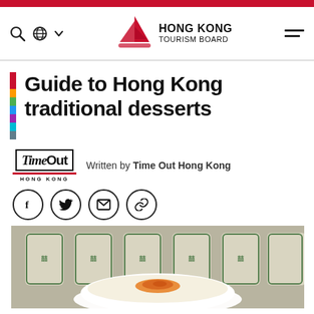[Figure (logo): Hong Kong Tourism Board logo with red junk boat sail and text HONG KONG TOURISM BOARD]
Guide to Hong Kong traditional desserts
Written by Time Out Hong Kong
[Figure (logo): Time Out Hong Kong logo]
[Figure (photo): Photo of a Hong Kong traditional dessert - steamed egg pudding with orange topping in a white bowl, with green patterned bowls in background]